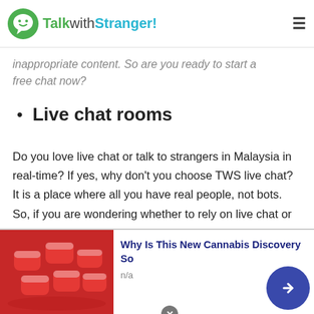TalkwithStranger!
inappropriate content. So are you ready to start a free chat now?
Live chat rooms
Do you love live chat or talk to strangers in Malaysia in real-time? If yes, why don't you choose TWS live chat? It is a place where all you have real people, not bots. So, if you are wondering whether to rely on live chat or not then stop thinking like that. Talkwithstranger app enables users to avail free online chat with 100% authenticity and reliability.
[Figure (screenshot): Scroll-to-top button with upward chevron on teal/cyan background]
[Figure (infographic): Advertisement banner: red gummy candy image on left, text 'Why Is This New Cannabis Discovery So' in dark blue bold, 'n/a' subtext, close X button top right, dark blue circular arrow button bottom right]